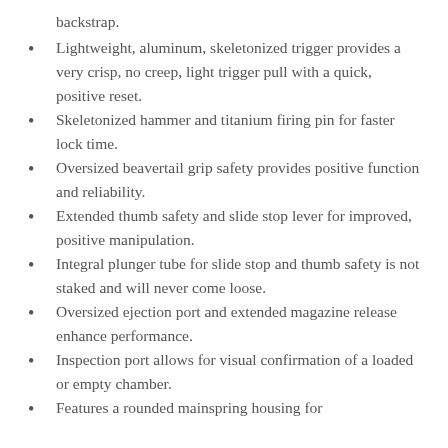backstrap.
Lightweight, aluminum, skeletonized trigger provides a very crisp, no creep, light trigger pull with a quick, positive reset.
Skeletonized hammer and titanium firing pin for faster lock time.
Oversized beavertail grip safety provides positive function and reliability.
Extended thumb safety and slide stop lever for improved, positive manipulation.
Integral plunger tube for slide stop and thumb safety is not staked and will never come loose.
Oversized ejection port and extended magazine release enhance performance.
Inspection port allows for visual confirmation of a loaded or empty chamber.
Features a rounded mainspring housing for